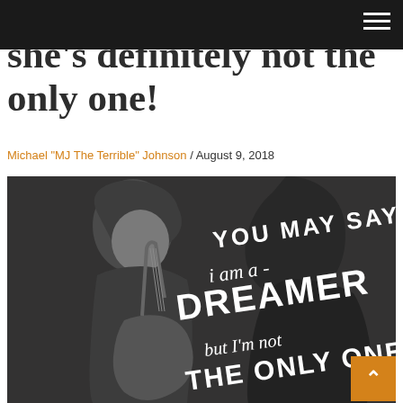she's definitely not the only one!
Michael "MJ The Terrible" Johnson / August 9, 2018
[Figure (photo): Black and white photo of John Lennon playing guitar, overlaid with hand-lettered text reading 'YOU MAY SAY i am a - DREAMER - but I'm not THE ONLY ONE']